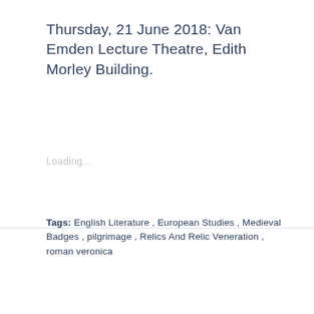Thursday, 21 June 2018: Van Emden Lecture Theatre, Edith Morley Building.
Loading...
Tags:  English Literature ,  European Studies ,  Medieval Badges ,  pilgrimage ,  Relics And Relic Veneration ,  roman veronica